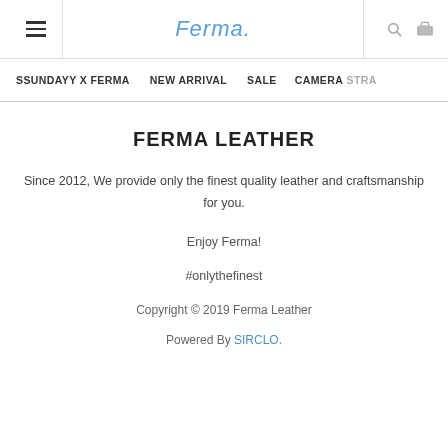Ferma. [logo] [search icon] [cart icon]
SSUNDAYY X FERMA   NEW ARRIVAL   SALE   CAMERA STRAP
FERMA LEATHER
Since 2012, We provide only the finest quality leather and craftsmanship for you.
Enjoy Ferma!
#onlythefinest
Copyright © 2019 Ferma Leather
Powered By SIRCLO.